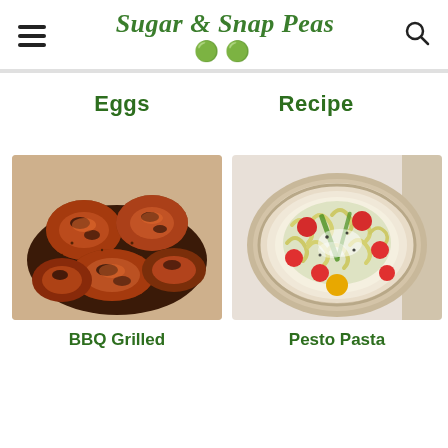Sugar & Snap Peas
Eggs
Recipe
[Figure (photo): Overhead view of BBQ grilled chicken drumsticks piled on parchment paper, charred and glazed with dark BBQ sauce]
[Figure (photo): Overhead view of pesto pasta in a rustic ceramic bowl with cherry tomatoes, green vegetables, and grated parmesan]
BBQ Grilled
Pesto Pasta